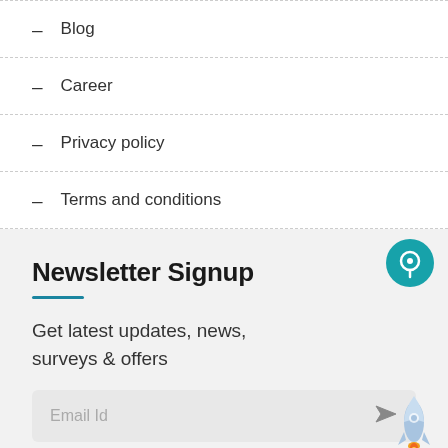Blog
Career
Privacy policy
Terms and conditions
Newsletter Signup
Get latest updates, news, surveys & offers
[Figure (other): Email input field with send icon and placeholder text 'Email Id']
[Figure (illustration): Teal circular chat bubble icon]
[Figure (illustration): Blue and orange rocket ship illustration]